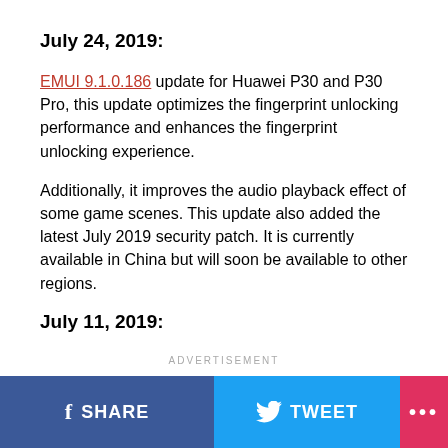July 24, 2019:
EMUI 9.1.0.186 update for Huawei P30 and P30 Pro, this update optimizes the fingerprint unlocking performance and enhances the fingerprint unlocking experience.
Additionally, it improves the audio playback effect of some game scenes. This update also added the latest July 2019 security patch. It is currently available in China but will soon be available to other regions.
July 11, 2019:
ADVERTISEMENT
SHARE   TWEET   ...